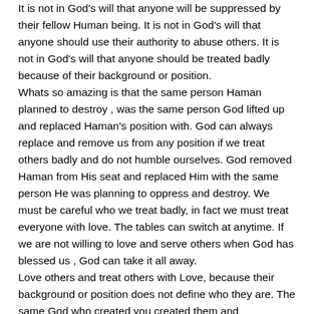It is not in God's will that anyone will be suppressed by their fellow Human being. It is not in God's will that anyone should use their authority to abuse others. It is not in God's will that anyone should be treated badly because of their background or position. Whats so amazing is that the same person Haman planned to destroy , was the same person God lifted up and replaced Haman's position with. God can always replace and remove us from any position if we treat others badly and do not humble ourselves. God removed Haman from His seat and replaced Him with the same person He was planning to oppress and destroy. We must be careful who we treat badly, in fact we must treat everyone with love. The tables can switch at anytime. If we are not willing to love and serve others when God has blessed us , God can take it all away. Love others and treat others with Love, because their background or position does not define who they are. The same God who created you created them and